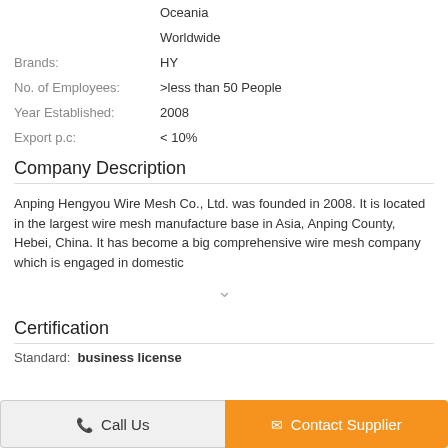|  | Oceania |
|  | Worldwide |
| Brands: | HY |
| No. of Employees: | >less than 50 People |
| Year Established: | 2008 |
| Export p.c: | < 10% |
Company Description
Anping Hengyou Wire Mesh Co., Ltd. was founded in 2008. It is located in the largest wire mesh manufacture base in Asia, Anping County, Hebei, China. It has become a big comprehensive wire mesh company which is engaged in domestic
Certification
Standard:  business license
Call Us
Contact Supplier